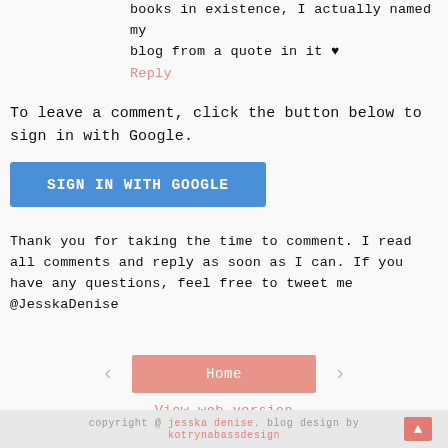books in existence, I actually named my blog from a quote in it ♥
Reply
To leave a comment, click the button below to sign in with Google.
[Figure (other): Blue 'SIGN IN WITH GOOGLE' button]
Thank you for taking the time to comment. I read all comments and reply as soon as I can. If you have any questions, feel free to tweet me @JesskaDenise
[Figure (other): Navigation area with left arrow, pink Home button, right arrow]
View web version
copyright @ jesska denise. blog design by kotrynabassdesign